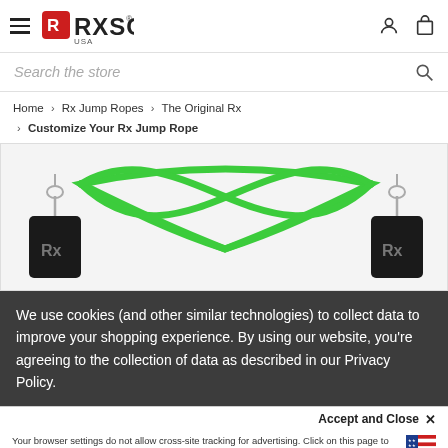RXSG USA — navigation header with hamburger menu, logo, user icon, cart icon
Search the store
Home > Rx Jump Ropes > The Original Rx > Customize Your Rx Jump Rope
[Figure (photo): Product photo of an Rx jump rope with green cable and black handles labeled 'Rx', showing the cable crossing in an X shape against a white background.]
We use cookies (and other similar technologies) to collect data to improve your shopping experience. By using our website, you're agreeing to the collection of data as described in our Privacy Policy.
Accept and Close ✕
Your browser settings do not allow cross-site tracking for advertising. Click on this page to allow AdRoll to use cross-site tracking to tailor ads to you. Learn more or opt out of this AdRoll tracking by clicking here. This message only appears once.